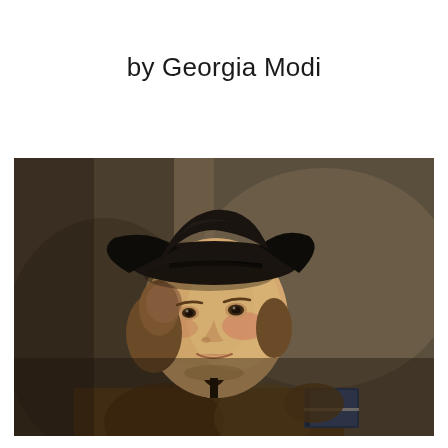by Georgia Modi
[Figure (photo): Classical oil painting portrait of a young man wearing a black tricorn hat and brown jacket, holding a book, looking back over his shoulder against a dark brown background. Style consistent with 18th century European portraiture.]